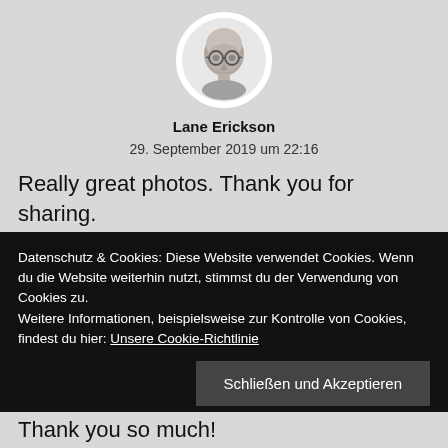[Figure (photo): Circular avatar photo of a bald man with glasses, in black and white]
Lane Erickson
29. September 2019 um 22:16
Really great photos. Thank you for sharing.
★ Gefällt 1 Person
Datenschutz & Cookies: Diese Website verwendet Cookies. Wenn du die Website weiterhin nutzt, stimmst du der Verwendung von Cookies zu.
Weitere Informationen, beispielsweise zur Kontrolle von Cookies, findest du hier: Unsere Cookie-Richtlinie
Schließen und Akzeptieren
Thank you so much!